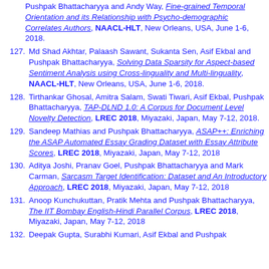Pushpak Bhattacharyya and Andy Way, Fine-grained Temporal Orientation and its Relationship with Psycho-demographic Correlates Authors, NAACL-HLT, New Orleans, USA, June 1-6, 2018.
127. Md Shad Akhtar, Palaash Sawant, Sukanta Sen, Asif Ekbal and Pushpak Bhattacharyya, Solving Data Sparsity for Aspect-based Sentiment Analysis using Cross-linguality and Multi-linguality, NAACL-HLT, New Orleans, USA, June 1-6, 2018.
128. Tirthankar Ghosal, Amitra Salam, Swati Tiwari, Asif Ekbal, Pushpak Bhattacharyya, TAP-DLND 1.0: A Corpus for Document Level Novelty Detection, LREC 2018, Miyazaki, Japan, May 7-12, 2018.
129. Sandeep Mathias and Pushpak Bhattacharyya, ASAP++: Enriching the ASAP Automated Essay Grading Dataset with Essay Attribute Scores, LREC 2018, Miyazaki, Japan, May 7-12, 2018
130. Aditya Joshi, Pranav Goel, Pushpak Bhattacharyya and Mark Carman, Sarcasm Target Identification: Dataset and An Introductory Approach, LREC 2018, Miyazaki, Japan, May 7-12, 2018
131. Anoop Kunchukuttan, Pratik Mehta and Pushpak Bhattacharyya, The IIT Bombay English-Hindi Parallel Corpus, LREC 2018, Miyazaki, Japan, May 7-12, 2018
132. Deepak Gupta, Surabhi Kumari, Asif Ekbal and Pushpak Bhattacharyya, ...